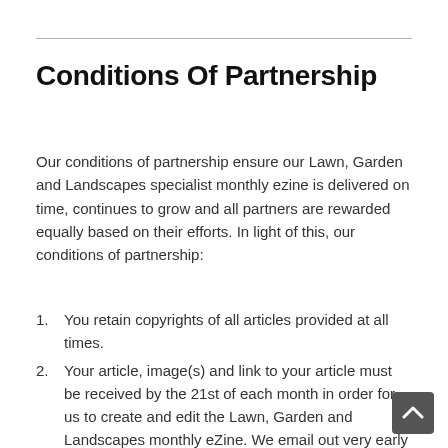Conditions Of Partnership
Our conditions of partnership ensure our Lawn, Garden and Landscapes specialist monthly ezine is delivered on time, continues to grow and all partners are rewarded equally based on their efforts. In light of this, our conditions of partnership:
You retain copyrights of all articles provided at all times.
Your article, image(s) and link to your article must be received by the 21st of each month in order for us to create and edit the Lawn, Garden and Landscapes monthly eZine. We email out very early on the last Saturday of the month or the first Saturday of a new month to ensure maximum readership over the